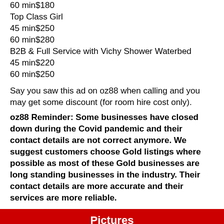60 min$180
Top Class Girl
45 min$250
60 min$280
B2B & Full Service with Vichy Shower Waterbed
45 min$220
60 min$250
Say you saw this ad on oz88 when calling and you may get some discount (for room hire cost only).
oz88 Reminder: Some businesses have closed down during the Covid pandemic and their contact details are not correct anymore. We suggest customers choose Gold listings where possible as most of these Gold businesses are long standing businesses in the industry. Their contact details are more accurate and their services are more reliable.
Pictures
【Pic 1】
[Figure (photo): Partial photo showing a person with dark hair from behind, with hand raised, against a warm-toned room background]